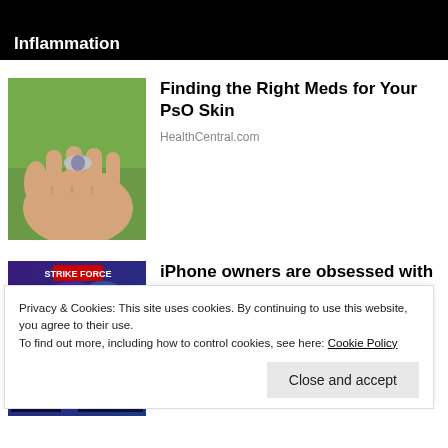Inflammation
[Figure (photo): Hand holding a small pill or capsule against a green outdoor background]
Finding the Right Meds for Your PsO Skin
HealthCentral.com
[Figure (screenshot): Marvel Strike Force game promotional image showing characters KYRIE and MIGHTY TH with colorful action background]
iPhone owners are obsessed with this Marvel game
MARVEL Strike Force
Privacy & Cookies: This site uses cookies. By continuing to use this website, you agree to their use.
To find out more, including how to control cookies, see here: Cookie Policy
Close and accept